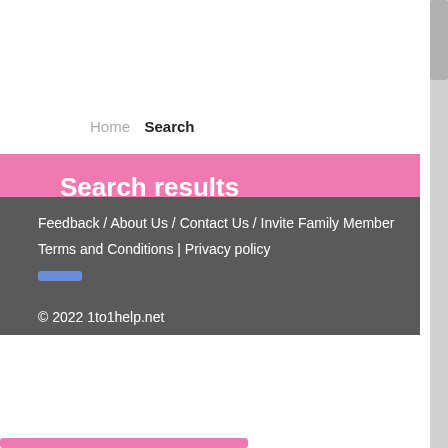Home  Search
Search results
No records found.
    Total 0 Pages, Total 0 records
related content.
Feedback / About Us / Contact Us / Invite Family Member
Terms and Conditions | Privacy policy
© 2022 1to1help.net